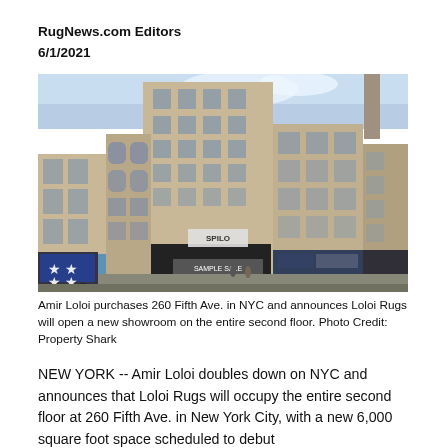RugNews.com Editors
6/1/2021
[Figure (photo): Street-level photograph of 260 Fifth Avenue in New York City, a tall multi-story beige/tan stone building flanked by other urban buildings. The storefront shows a 'SAMPLE SALE' sign. A blue star-spangled bus/truck is visible on the left. A church steeple is visible in the upper right.]
Amir Loloi purchases 260 Fifth Ave. in NYC and announces Loloi Rugs will open a new showroom on the entire second floor. Photo Credit: Property Shark
NEW YORK -- Amir Loloi doubles down on NYC and announces that Loloi Rugs will occupy the entire second floor at 260 Fifth Ave. in New York City, with a new 6,000 square foot space scheduled to debut